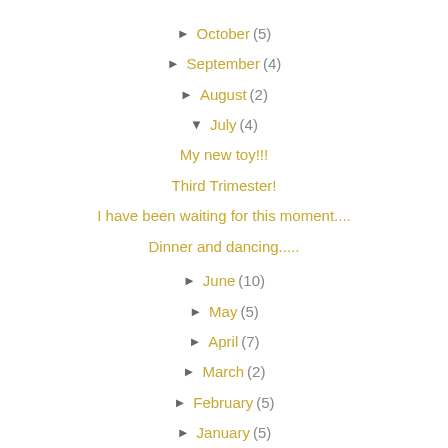► October (5)
► September (4)
► August (2)
▼ July (4)
My new toy!!!
Third Trimester!
I have been waiting for this moment....
Dinner and dancing.....
► June (10)
► May (5)
► April (7)
► March (2)
► February (5)
► January (5)